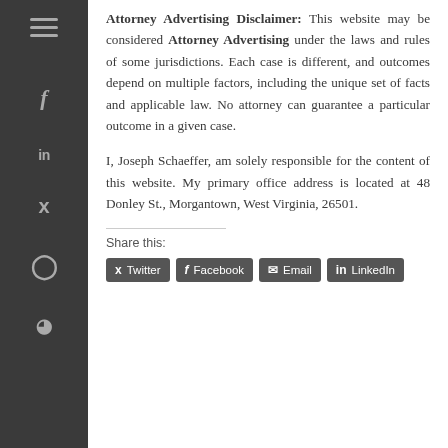Attorney Advertising Disclaimer: This website may be considered Attorney Advertising under the laws and rules of some jurisdictions. Each case is different, and outcomes depend on multiple factors, including the unique set of facts and applicable law. No attorney can guarantee a particular outcome in a given case.
I, Joseph Schaeffer, am solely responsible for the content of this website. My primary office address is located at 48 Donley St., Morgantown, West Virginia, 26501.
Share this: